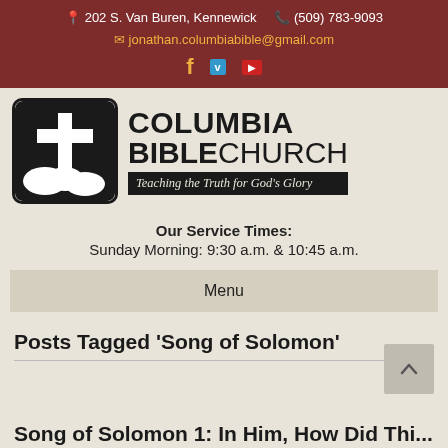📍 202 S. Van Buren, Kennewick  📞 (509) 783-9093  ✉ jonathan.columbiabible@gmail.com
[Figure (logo): Columbia Bible Church logo with cross icon and tagline 'Teaching the Truth for God's Glory']
Our Service Times:
Sunday Morning: 9:30 a.m. & 10:45 a.m.
Menu
Posts Tagged 'Song of Solomon'
Song of Solomon 1: In Him, How Did This...